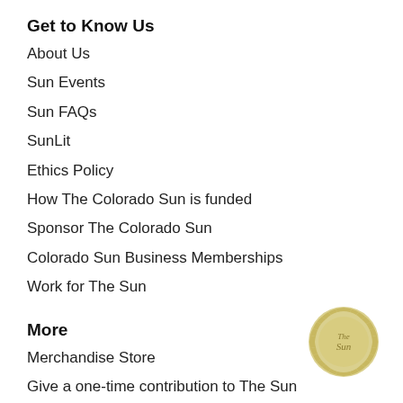Get to Know Us
About Us
Sun Events
Sun FAQs
SunLit
Ethics Policy
How The Colorado Sun is funded
Sponsor The Colorado Sun
Colorado Sun Business Memberships
Work for The Sun
More
Merchandise Store
Give a one-time contribution to The Sun
RSS feed
[Figure (logo): The Colorado Sun circular logo with sun ray design in tan/gold colors]